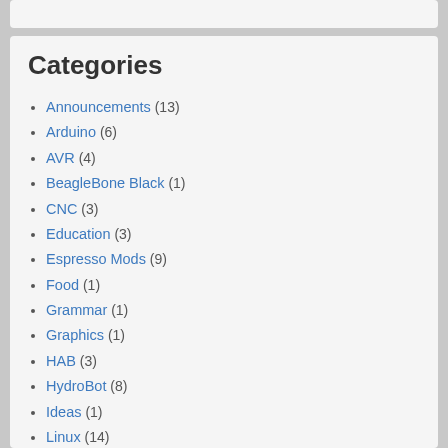Categories
Announcements (13)
Arduino (6)
AVR (4)
BeagleBone Black (1)
CNC (3)
Education (3)
Espresso Mods (9)
Food (1)
Grammar (1)
Graphics (1)
HAB (3)
HydroBot (8)
Ideas (1)
Linux (14)
MNL (6)
PicoBuck (1)
Projects (11)